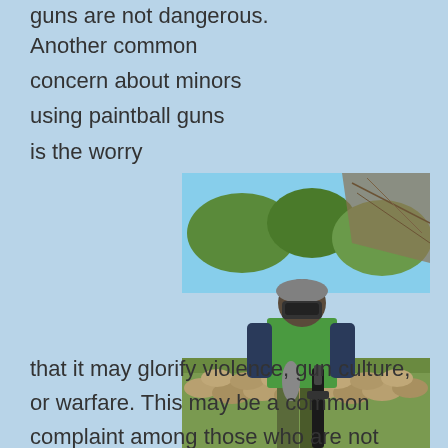guns are not dangerous.
[Figure (photo): A person wearing a green vest and protective mask holding a paintball gun, standing on a field with sandbags and camouflage netting in the background.]
Another common concern about minors using paintball guns is the worry that it may glorify violence, gun culture, or warfare. This may be a common complaint among those who are not familiar with paintball, but fans of the game tend to disagree strongly. People who actually play paintball report that it is more like a sport than a war game. Most paintball leagues require participants to use neutral language like "I got you" instead of "I shot